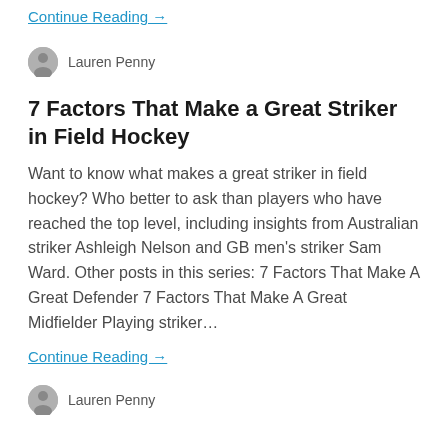Continue Reading →
Lauren Penny
7 Factors That Make a Great Striker in Field Hockey
Want to know what makes a great striker in field hockey? Who better to ask than players who have reached the top level, including insights from Australian striker Ashleigh Nelson and GB men's striker Sam Ward. Other posts in this series: 7 Factors That Make A Great Defender 7 Factors That Make A Great Midfielder Playing striker…
Continue Reading →
Lauren Penny
7 Factors That Make A Great Defender In Field Hockey